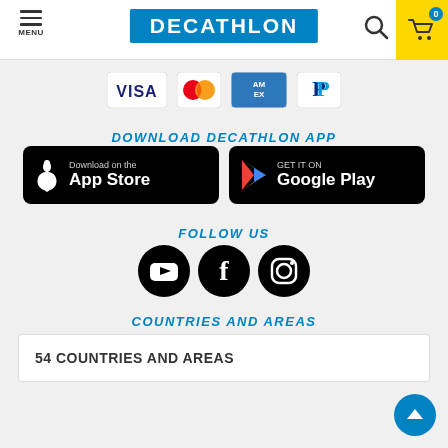MENU | DECATHLON | Search | Cart 0
[Figure (logo): Payment method logos: VISA, Mastercard, American Express, PayPal]
DOWNLOAD DECATHLON APP
[Figure (other): App Store and Google Play download buttons]
FOLLOW US
[Figure (other): Social media icons: YouTube, Facebook, Instagram]
COUNTRIES AND AREAS
54 COUNTRIES AND AREAS